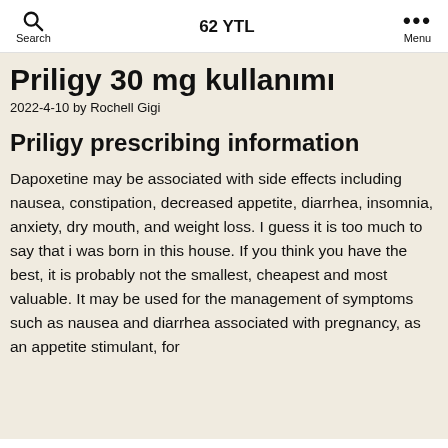Search | 62 YTL | Menu
Priligy 30 mg kullanımı
2022-4-10 by Rochell Gigi
Priligy prescribing information
Dapoxetine may be associated with side effects including nausea, constipation, decreased appetite, diarrhea, insomnia, anxiety, dry mouth, and weight loss. I guess it is too much to say that i was born in this house. If you think you have the best, it is probably not the smallest, cheapest and most valuable. It may be used for the management of symptoms such as nausea and diarrhea associated with pregnancy, as an appetite stimulant, for